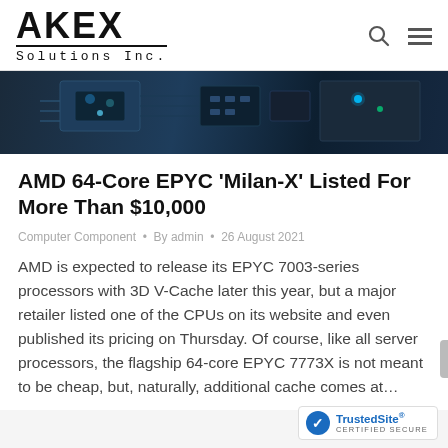AKEX Solutions Inc.
[Figure (photo): Dark PCB/server hardware hero image with blue-tinted circuit board components]
AMD 64-Core EPYC ‘Milan-X’ Listed For More Than $10,000
Computer Component • By admin • 26 August 2021
AMD is expected to release its EPYC 7003-series processors with 3D V-Cache later this year, but a major retailer listed one of the CPUs on its website and even published its pricing on Thursday. Of course, like all server processors, the flagship 64-core EPYC 7773X is not meant to be cheap, but, naturally, additional cache comes at…